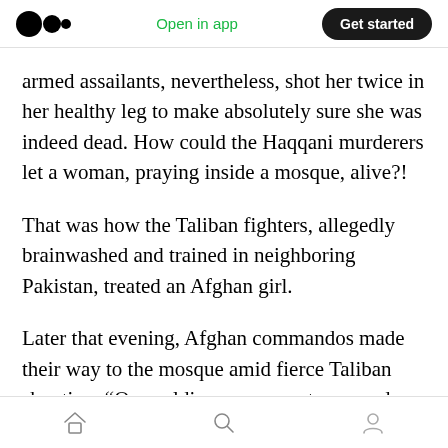Medium app header — Open in app | Get started
armed assailants, nevertheless, shot her twice in her healthy leg to make absolutely sure she was indeed dead. How could the Haqqani murderers let a woman, praying inside a mosque, alive?!
That was how the Taliban fighters, allegedly brainwashed and trained in neighboring Pakistan, treated an Afghan girl.
Later that evening, Afghan commandos made their way to the mosque amid fierce Taliban shooting. “One soldier came near to me and said you’re like my sister and like my mother, let me
Home | Search | Profile